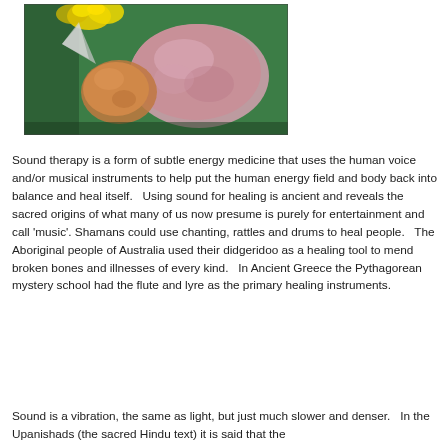[Figure (photo): Photo of healing crystals/stones (pink/orange) on green fabric, with yellow flowers visible at the top]
Sound therapy is a form of subtle energy medicine that uses the human voice and/or musical instruments to help put the human energy field and body back into balance and heal itself.   Using sound for healing is ancient and reveals the sacred origins of what many of us now presume is purely for entertainment and call 'music'. Shamans could use chanting, rattles and drums to heal people.   The Aboriginal people of Australia used their didgeridoo as a healing tool to mend broken bones and illnesses of every kind.   In Ancient Greece the Pythagorean mystery school had the flute and lyre as the primary healing instruments.
Sound is a vibration, the same as light, but just much slower and denser.   In the Upanishads (the sacred Hindu text) it is said that the